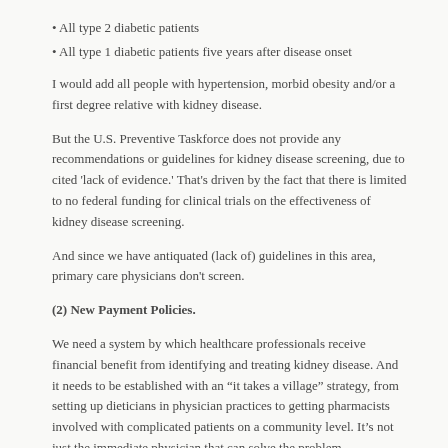All type 2 diabetic patients
All type 1 diabetic patients five years after disease onset
I would add all people with hypertension, morbid obesity and/or a first degree relative with kidney disease.
But the U.S. Preventive Taskforce does not provide any recommendations or guidelines for kidney disease screening, due to cited 'lack of evidence.' That's driven by the fact that there is limited to no federal funding for clinical trials on the effectiveness of kidney disease screening.
And since we have antiquated (lack of) guidelines in this area, primary care physicians don't screen.
(2) New Payment Policies.
We need a system by which healthcare professionals receive financial benefit from identifying and treating kidney disease. And it needs to be established with an “it takes a village” strategy, from setting up dieticians in physician practices to getting pharmacists involved with complicated patients on a community level. It’s not just the immediate physician that can solve the problem.
Unfortunately, a new payment model was not proposed in the